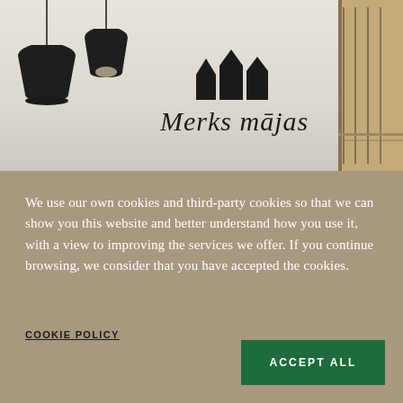[Figure (photo): Interior room photo showing pendant black lamps hanging from ceiling on the left, a light-colored wall in the center with the Merks mājas logo (building icon and cursive script), and a wooden panel with mirror/glass frames on the right.]
We use our own cookies and third-party cookies so that we can show you this website and better understand how you use it, with a view to improving the services we offer. If you continue browsing, we consider that you have accepted the cookies.
COOKIE POLICY
ACCEPT ALL